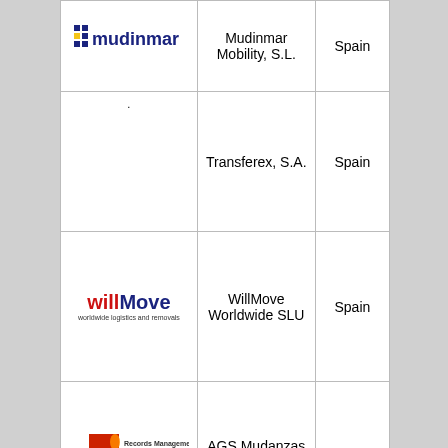| [Mudinmar logo] | Mudinmar Mobility, S.L. | Spain |
| . | Transferex, S.A. | Spain |
| [WillMove logo] | WillMove Worldwide SLU | Spain |
| [AGS logo] | AGS Mudanzas Internacionales, S.L. | Madrid, Spain |
|  |  |  |